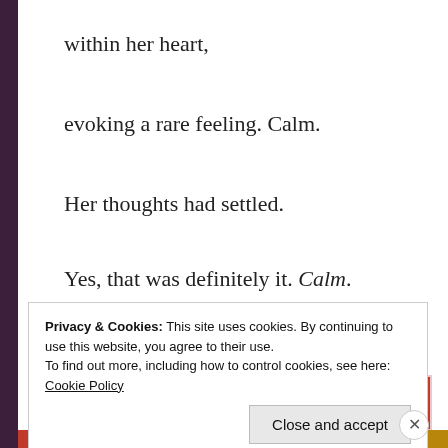within her heart,
evoking a rare feeling. Calm.
Her thoughts had settled.
Yes, that was definitely it. Calm.
[Figure (other): Red advertisement banner: 'The best stories on the web — ours, and everyone else's.']
Privacy & Cookies: This site uses cookies. By continuing to use this website, you agree to their use.
To find out more, including how to control cookies, see here:
Cookie Policy
Close and accept